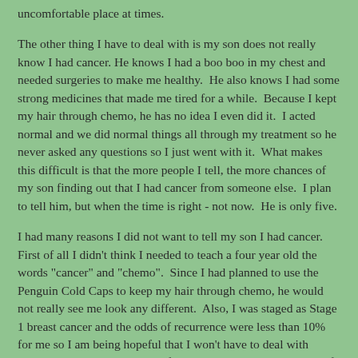uncomfortable place at times.
The other thing I have to deal with is my son does not really know I had cancer. He knows I had a boo boo in my chest and needed surgeries to make me healthy.  He also knows I had some strong medicines that made me tired for a while.  Because I kept my hair through chemo, he has no idea I even did it.  I acted normal and we did normal things all through my treatment so he never asked any questions so I just went with it.  What makes this difficult is that the more people I tell, the more chances of my son finding out that I had cancer from someone else.  I plan to tell him, but when the time is right - not now.  He is only five.
I had many reasons I did not want to tell my son I had cancer. First of all I didn't think I needed to teach a four year old the words "cancer" and "chemo".  Since I had planned to use the Penguin Cold Caps to keep my hair through chemo, he would not really see me look any different.  Also, I was staged as Stage 1 breast cancer and the odds of recurrence were less than 10% for me so I am being hopeful that I won't have to deal with breast cancer again or at least for a very long time.  Given all of these things, we decided it would be best not to tell him at the time.